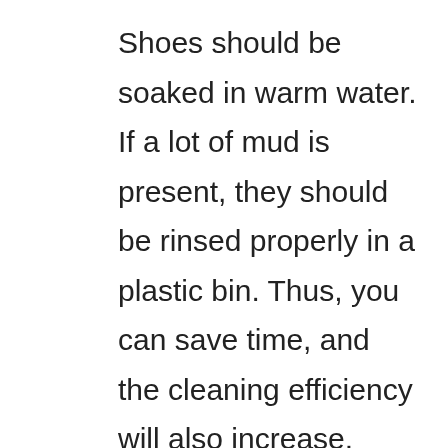Shoes should be soaked in warm water. If a lot of mud is present, they should be rinsed properly in a plastic bin. Thus, you can save time, and the cleaning efficiency will also increase. To remove the dirt, you should use brush or cloth.
It is not advisable to use detergents or regular soaps to clean your shoes. The dyes in the shoe might be damaged,